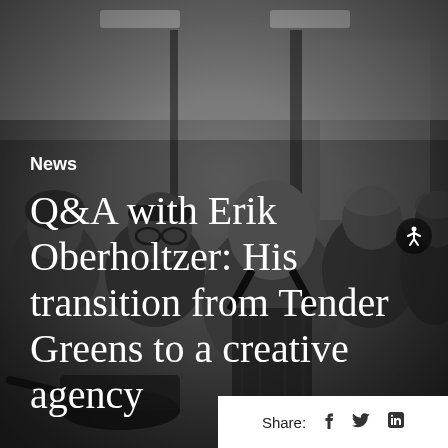[Figure (photo): Black and white/grayscale photo of a group of people in a kitchen setting, wearing head coverings and aprons, appearing to cook or work together. A bald man in a striped apron is prominent in the center.]
News
Q&A with Erik Oberholtzer: His transition from Tender Greens to a creative agency
Share:  f  in